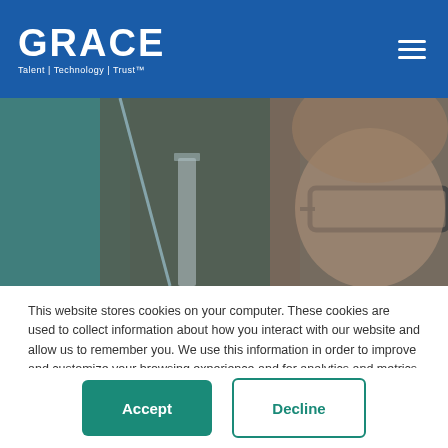GRACE | Talent | Technology | Trust™
[Figure (photo): Close-up photo of a laboratory scientist wearing glasses, looking at lab equipment including a graduated cylinder and tubing. The image has a dark, moody tone with teal and brown tones.]
This website stores cookies on your computer. These cookies are used to collect information about how you interact with our website and allow us to remember you. We use this information in order to improve and customize your browsing experience and for analytics and metrics about our visitors both on this website and other media. To find out more about the cookies we use, see our Cookie Policy.
Accept
Decline